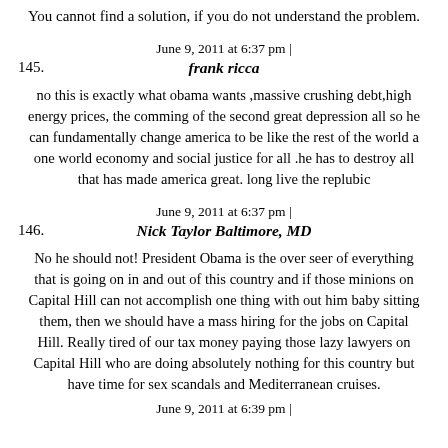You cannot find a solution, if you do not understand the problem.
June 9, 2011 at 6:37 pm |
145. frank ricca
no this is exactly what obama wants ,massive crushing debt,high energy prices, the comming of the second great depression all so he can fundamentally change america to be like the rest of the world a one world economy and social justice for all .he has to destroy all that has made america great. long live the replubic
June 9, 2011 at 6:37 pm |
146. Nick Taylor Baltimore, MD
No he should not! President Obama is the over seer of everything that is going on in and out of this country and if those minions on Capital Hill can not accomplish one thing with out him baby sitting them, then we should have a mass hiring for the jobs on Capital Hill. Really tired of our tax money paying those lazy lawyers on Capital Hill who are doing absolutely nothing for this country but have time for sex scandals and Mediterranean cruises.
June 9, 2011 at 6:39 pm |